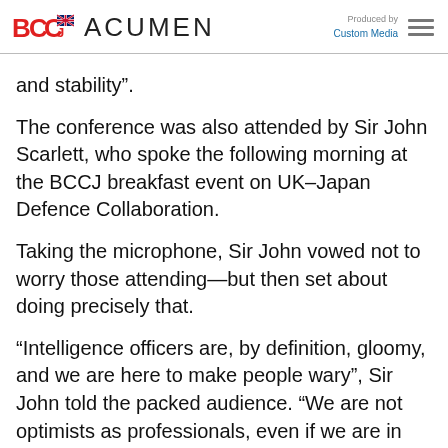BCCJ ACUMEN — Produced by Custom Media
and stability”.
The conference was also attended by Sir John Scarlett, who spoke the following morning at the BCCJ breakfast event on UK–Japan Defence Collaboration.
Taking the microphone, Sir John vowed not to worry those attending—but then set about doing precisely that.
“Intelligence officers are, by definition, gloomy, and we are here to make people wary”, Sir John told the packed audience. “We are not optimists as professionals, even if we are in person. It’s the